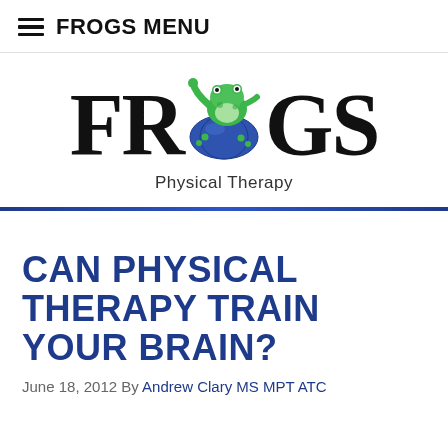≡ FROGS MENU
[Figure (logo): FROGS Physical Therapy logo with a green frog sitting on a blue globe, replacing the letter O in FROGS. Below the logo text reads 'Physical Therapy'.]
CAN PHYSICAL THERAPY TRAIN YOUR BRAIN?
June 18, 2012 By Andrew Clary MS MPT ATC